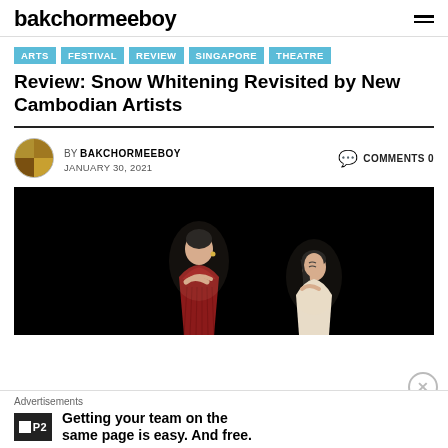bakchormeeboy
ARTS
FESTIVAL
REVIEW
SINGAPORE
THEATRE
Review: Snow Whitening Revisited by New Cambodian Artists
BY BAKCHORMEEBOY   COMMENTS 0
JANUARY 30, 2021
[Figure (photo): Two female dancers performing against a black background. The dancer on the left wears a red dress and has her arms crossed over her chest. The dancer on the right wears a light-colored outfit and looks upward with hands at her chest.]
Advertisements
Getting your team on the same page is easy. And free.